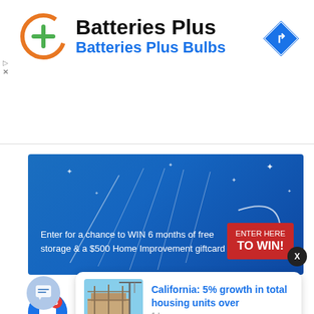[Figure (logo): Batteries Plus brand logo with orange and green circular icon, navigation arrow icon on right]
Batteries Plus
Batteries Plus Bulbs
[Figure (screenshot): Blue promotional banner ad: Enter for a chance to WIN 6 months of free storage & a $500 Home Improvement giftcard. ENTER HERE TO WIN! button on right.]
[Figure (illustration): Blue circular notification bell icon with red badge showing number 3]
[Figure (screenshot): Dark circular X close button]
[Figure (screenshot): News card with construction photo thumbnail and headline: California: 5% growth in total housing units over, 1 hour ago]
[Figure (illustration): Light blue circular chat/message icon button]